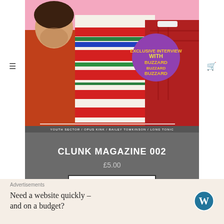[Figure (photo): Magazine cover of Clunk Magazine 002 showing three young men against a pink background, center figure wearing a red/white/green striped sweater, with a purple circular badge reading 'Exclusive Interview with Buzzard Buzzard Buzzard'. Bottom strip text reads: YOUTH SECTOR / OPUS KINK / BAILEY TOMKINSON / LONG TONIC]
CLUNK MAGAZINE 002
£5.00
READ MORE
Advertisements
Need a website quickly – and on a budget?